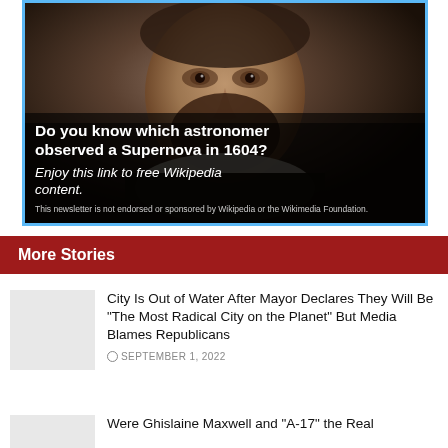[Figure (photo): Advertisement image showing a historical portrait painting of a bearded man (astronomer) with text overlay asking 'Do you know which astronomer observed a Supernova in 1604?' and subtitle 'Enjoy this link to free Wikipedia content.' with a disclaimer about not being endorsed by Wikipedia.]
More Stories
City Is Out of Water After Mayor Declares They Will Be "The Most Radical City on the Planet" But Media Blames Republicans
SEPTEMBER 1, 2022
Were Ghislaine Maxwell and "A-17" the Real